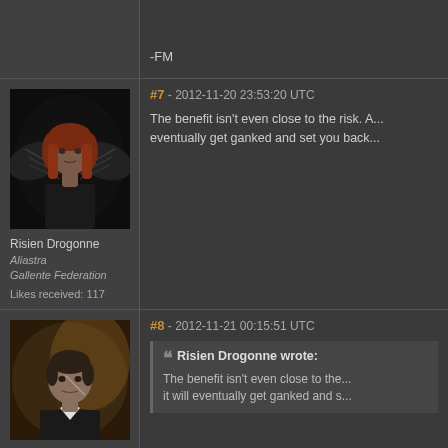-FM
#7 - 2012-11-20 23:53:20 UTC
[Figure (photo): Avatar of Risien Drogonne, female character with red hair and black wings against dark background]
Risien Drogonne
Aliastra
Gallente Federation
Likes received: 117
The benefit isn't even close to the risk. A... eventually get ganked and set you back...
#8 - 2012-11-21 00:15:51 UTC
[Figure (photo): Avatar of a male character with dark hair and white collar against golden background]
Risien Drogonne wrote:
The benefit isn't even close to the... it will eventually get ganked and s...